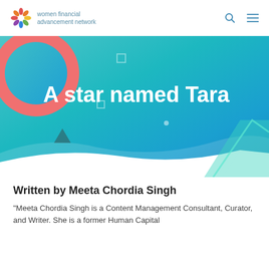women financial advancement network
[Figure (illustration): Hero banner with teal-to-blue gradient background, large pink circle on left, geometric shapes (squares, triangle, dot), teal chevron on right, white wave at bottom, and bold white title 'A star named Tara']
A star named Tara
Written by Meeta Chordia Singh
"Meeta Chordia Singh is a Content Management Consultant, Curator, and Writer. She is a former Human Capital